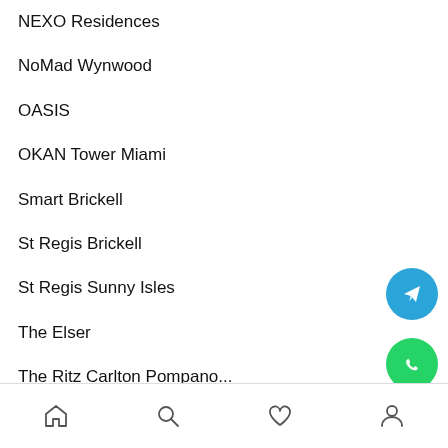NEXO Residences
NoMad Wynwood
OASIS
OKAN Tower Miami
Smart Brickell
St Regis Brickell
St Regis Sunny Isles
The Elser
The Ritz Carlton Pompano...
The Standard
Waldorf Astoria
Show All Projects
[Figure (infographic): Telegram contact button (blue circle with paper plane icon)]
[Figure (infographic): WhatsApp contact button (green circle with phone handset icon)]
Home | Search | Favorites | Profile navigation bar